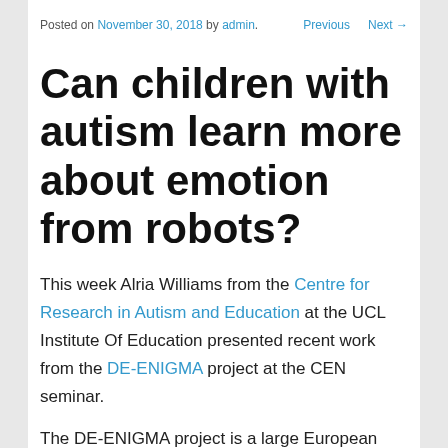Posted on November 30, 2018 by admin   Previous   Next →
Can children with autism learn more about emotion from robots?
This week Alria Williams from the Centre for Research in Autism and Education at the UCL Institute Of Education presented recent work from the DE-ENIGMA project at the CEN seminar.
The DE-ENIGMA project is a large European